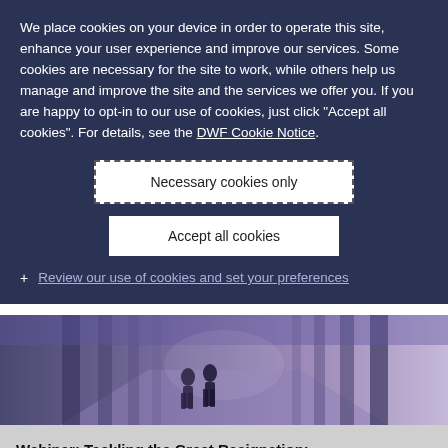We place cookies on your device in order to operate this site, enhance your user experience and improve our services. Some cookies are necessary for the site to work, while others help us manage and improve the site and the services we offer you. If you are happy to opt-in to our use of cookies, just click "Accept all cookies". For details, see the DWF Cookie Notice.
Necessary cookies only
Accept all cookies
+ Review our use of cookies and set your preferences
[Figure (photo): Photo of two people walking down a corridor with purple/blue toned lighting and vertical pillars]
Webinar: Tackling the Great Resignation: Retaining talent in your legal team